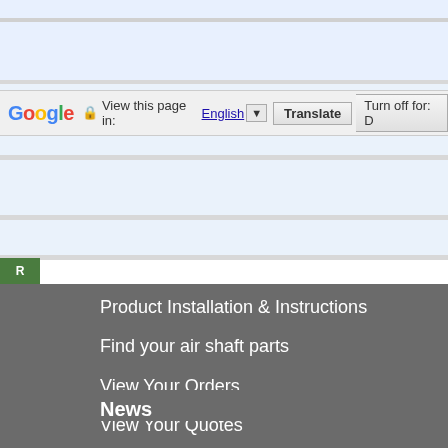[Figure (screenshot): Google Translate toolbar at the top of the browser page with gradient blue/grey background bands]
Google  View this page in:  English ▼  Translate  Turn off for: D
Product Installation & Instructions
Find your air shaft parts
View Your Orders
View Your Quotes
News